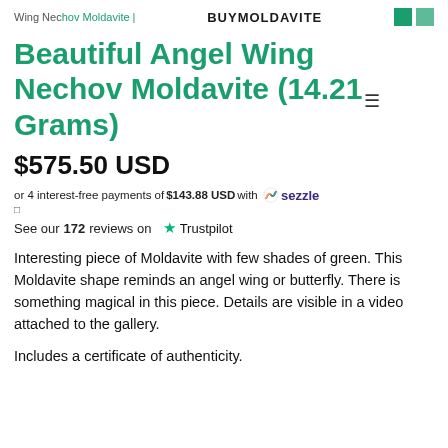Wing Nechov Moldavite | BUYMOLDAVITE
Beautiful Angel Wing Nechov Moldavite (14.21 Grams)
$575.50 USD
or 4 interest-free payments of $143.88 USD with sezzle
See our 172 reviews on Trustpilot
Interesting piece of Moldavite with few shades of green. This Moldavite shape reminds an angel wing or butterfly. There is something magical in this piece. Details are visible in a video attached to the gallery.
Includes a certificate of authenticity.